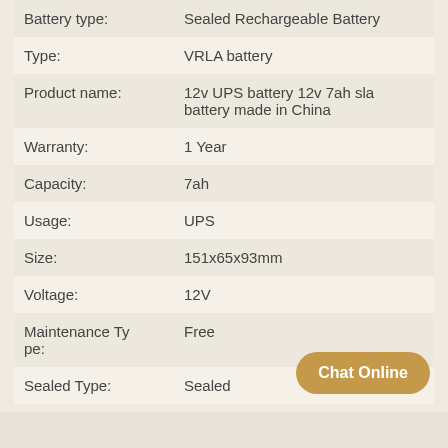| Attribute | Value |
| --- | --- |
| Battery type: | Sealed Rechargeable Battery |
| Type: | VRLA battery |
| Product name: | 12v UPS battery 12v 7ah sla battery made in China |
| Warranty: | 1 Year |
| Capacity: | 7ah |
| Usage: | UPS |
| Size: | 151x65x93mm |
| Voltage: | 12V |
| Maintenance Type: | Free |
| Sealed Type: | Sealed |
Supply Ability
10000000 Piece/Pieces per Month 12v UPS battery 12v 7ah sla battery